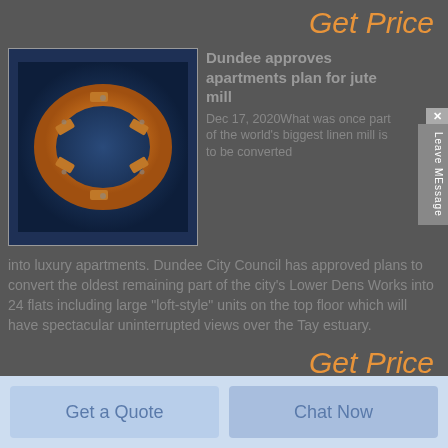Get Price
[Figure (photo): Orange/copper colored ring clamp or split collar mechanical part on dark blue background]
Dundee approves apartments plan for jute mill
Dec 17, 2020What was once part of the world's biggest linen mill is to be converted into luxury apartments. Dundee City Council has approved plans to convert the oldest remaining part of the city's Lower Dens Works into 24 flats including large "loft-style" units on the top floor which will have spectacular uninterrupted views over the Tay estuary.
Get Price
Get a Quote
Chat Now